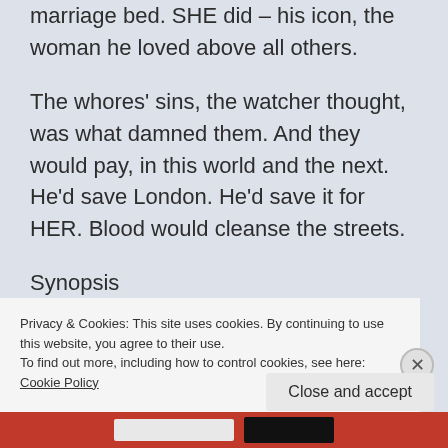marriage bed. SHE did – his icon, the woman he loved above all others.
The whores' sins, the watcher thought, was what damned them. And they would pay, in this world and the next. He'd save London. He'd save it for HER. Blood would cleanse the streets.
Synopsis
The year is 1888, and the place is Whitechapel, in the very heart of London. But the heart is
Privacy & Cookies: This site uses cookies. By continuing to use this website, you agree to their use.
To find out more, including how to control cookies, see here: Cookie Policy
Close and accept